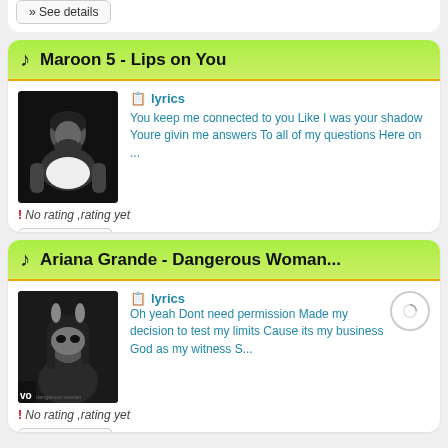» See details
Maroon 5 - Lips on You
[Figure (photo): Black and white photo of a man in a white t-shirt (Adam Levine / Maroon 5 album art)]
lyrics
You keep me connected to you Like I was your shadow Youre givin me answers To all of my questions Here on ...
! No rating ,rating yet
» See details
Ariana Grande - Dangerous Woman...
[Figure (photo): Black and white album cover for Ariana Grande - Dangerous Woman, showing Ariana wearing a bunny mask]
lyrics
Oh yeah Dont need permission Made my decision to test my limits Cause its my business God as my witness S...
! No rating ,rating yet
» See details